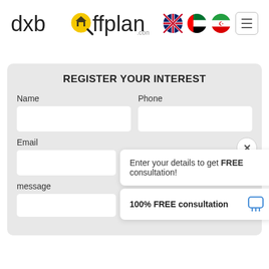[Figure (logo): dxboffplan.com logo with magnifying glass icon]
[Figure (infographic): UK flag, UAE flag, Iran flag circular icons and hamburger menu button]
REGISTER YOUR INTEREST
Name
Phone
Email
Enter your details to get FREE consultation!
message
100% FREE consultation